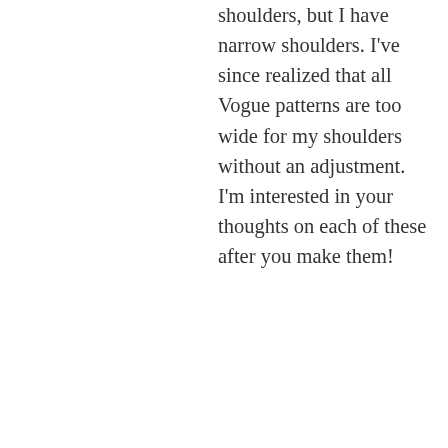shoulders, but I have narrow shoulders. I've since realized that all Vogue patterns are too wide for my shoulders without an adjustment. I'm interested in your thoughts on each of these after you make them!
★ Liked by 1 person
ELIN'S ERA   August 17, 2018 at 11:48 am
REPLY →
[Figure (photo): Circular avatar photo of a person with glasses]
Yeah, I think most vogue patterns are very wide on the